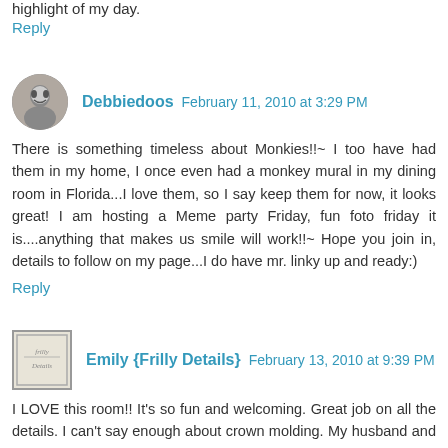highlight of my day.
Reply
Debbiedoos February 11, 2010 at 3:29 PM
There is something timeless about Monkies!!~ I too have had them in my home, I once even had a monkey mural in my dining room in Florida...I love them, so I say keep them for now, it looks great! I am hosting a Meme party Friday, fun foto friday it is....anything that makes us smile will work!!~ Hope you join in, details to follow on my page...I do have mr. linky up and ready:)
Reply
Emily {Frilly Details} February 13, 2010 at 9:39 PM
I LOVE this room!! It's so fun and welcoming. Great job on all the details. I can't say enough about crown molding. My husband and I added some in our half bath. It makes the room look very finished and classy. The "command station" is fantastic too!!